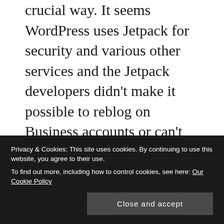crucial way. It seems WordPress uses Jetpack for security and various other services and the Jetpack developers didn't make it possible to reblog on Business accounts or can't figure it out, I'm not sure. I'm not a technologist — I just know it's not an option on my posts. Once you go Business, they consider your site a custom site, which gives Jetpack a hernia, so people can't reblog your material. Seriously? Here I am paying for improved functionality and marketability, yet I am missing one of the most basic and fundamental ways of building up an audience. Talk about a momentum killer
Privacy & Cookies: This site uses cookies. By continuing to use this website, you agree to their use.
To find out more, including how to control cookies, see here: Our Cookie Policy